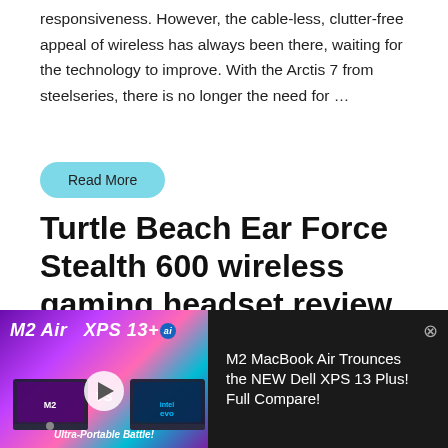responsiveness. However, the cable-less, clutter-free appeal of wireless has always been there, waiting for the technology to improve. With the Arctis 7 from steelseries, there is no longer the need for …
Read More
Turtle Beach Ear Force Stealth 600 wireless gaming headset review
By Larry Geisz / December 21, 2017 / Reviews /
[Figure (screenshot): Video ad overlay showing M2 Air vs XPS 13+ comparison with play button, purple/pink gradient background, text: M2 MacBook Air Trounces the NEW Dell XPS 13 Plus! Full Compare! with close button]